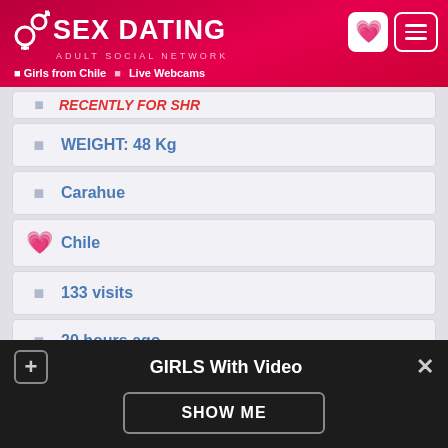SEX DATING ADULT SOCIAL NETWORK | Girls from Chile | Live Webcams
WEIGHT: 48 Kg
Carahue
Chile
133 visits
20 hours ago
HAIR: Brown
Send a message
GIRLS With Video
SHOW ME